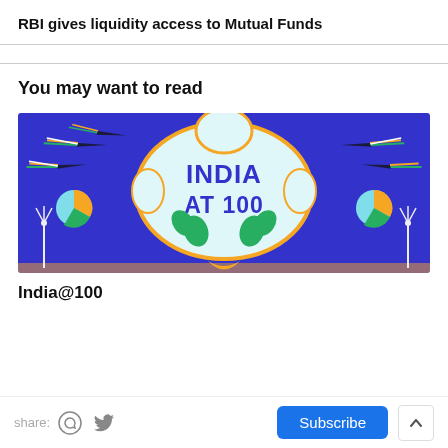RBI gives liquidity access to Mutual Funds
You may want to read
[Figure (illustration): India at 100 promotional banner with fighter jets leaving tricolor trails, wind turbines, and decorative motifs on a blue background with the text INDIA AT 100 in bold blue letters on a light ornate frame.]
India@100
share: [WhatsApp icon] [Twitter icon]  Subscribe  ^